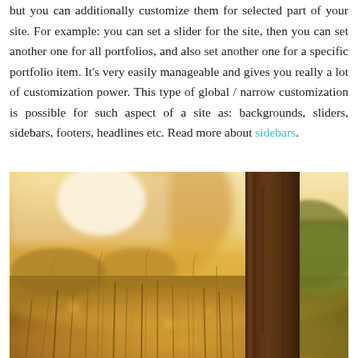but you can additionally customize them for selected part of your site. For example: you can set a slider for the site, then you can set another one for all portfolios, and also set another one for a specific portfolio item. It's very easily manageable and gives you really a lot of customization power. This type of global / narrow customization is possible for such aspect of a site as: backgrounds, sliders, sidebars, footers, headlines etc. Read more about sidebars.
[Figure (photo): A warm, golden-hour outdoor photograph showing a sunlit field with tall grasses and wildflowers in the foreground, a large tree trunk on the right side, and a bright hazy light in the upper left background.]